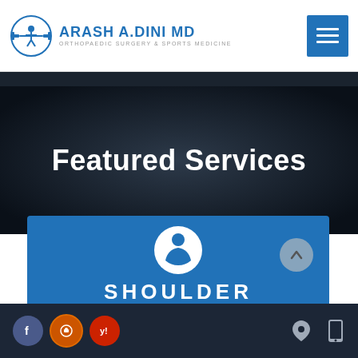[Figure (logo): Arash A. Dini MD logo with circular icon of a person and barbell, blue text reading ARASH A.DINI MD, subtitle ORTHOPAEDIC SURGERY & SPORTS MEDICINE]
[Figure (screenshot): Blue hamburger menu button (three white horizontal lines on blue square background) in top right corner]
Featured Services
[Figure (screenshot): Blue card with white shoulder/person icon in a circle and text SHOULDER partially visible, with a grey up-arrow button on the right]
[Figure (screenshot): Footer bar with social media icons (Facebook blue circle, Google/review orange circle, Yelp red circle) on the left, and location pin and mobile phone icons on the right]